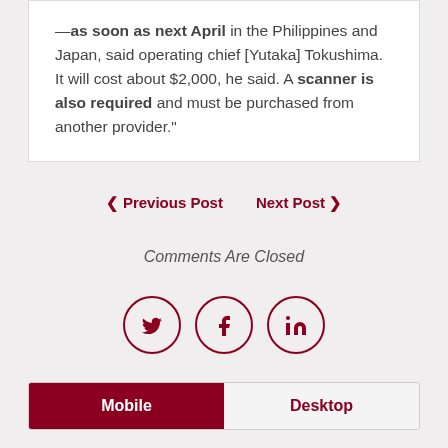—as soon as next April in the Philippines and Japan, said operating chief [Yutaka] Tokushima. It will cost about $2,000, he said. A scanner is also required and must be purchased from another provider."
❮ Previous Post   Next Post ❯
Comments Are Closed
[Figure (infographic): Three social sharing icons in a row: Twitter (bird), Facebook (f), LinkedIn (in), each in a circle with dark red border.]
Mobile   Desktop